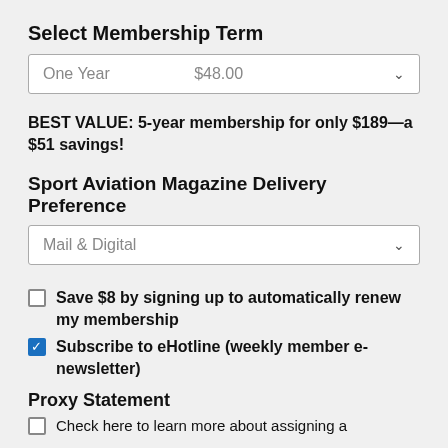Select Membership Term
One Year    $48.00
BEST VALUE: 5-year membership for only $189—a $51 savings!
Sport Aviation Magazine Delivery Preference
Mail & Digital
Save $8 by signing up to automatically renew my membership
Subscribe to eHotline (weekly member e-newsletter)
Proxy Statement
Check here to learn more about assigning a